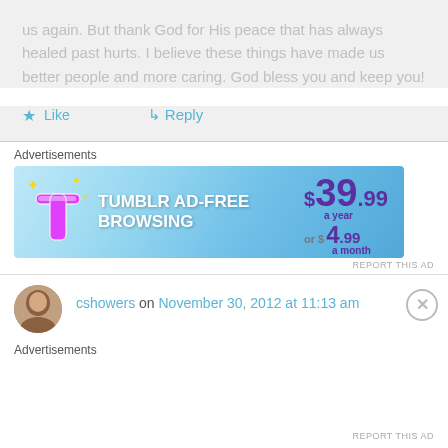us again. But thank God for His peace that has always healed past hurts. I believe these things have made us better people and more caring. God bless you and keep you!
★ Like   ↳ Reply
Advertisements
[Figure (other): Tumblr Ad-Free Browsing advertisement banner showing $39.99 a year or $4.99 a month pricing]
REPORT THIS AD
cshowers on November 30, 2012 at 11:13 am
Advertisements
REPORT THIS AD